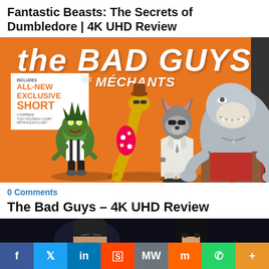Fantastic Beasts: The Secrets of Dumbledore | 4K UHD Review
[Figure (photo): The Bad Guys animated movie cover showing cartoon animal characters on an orange background with 'les MÉCHANTS' text and 'Includes All-New Exclusive Short' badge]
0 Comments
The Bad Guys – 4K UHD Review
[Figure (photo): Dark movie still showing two faces partially visible against a dark background]
f  Twitter  in  Reddit  MW  Mix  WhatsApp  +